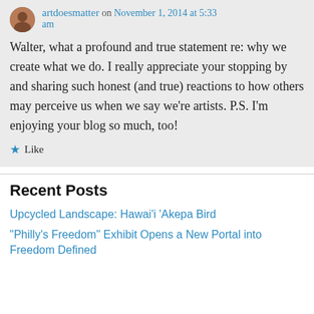artdoesmatter on November 1, 2014 at 5:33 am
Walter, what a profound and true statement re: why we create what we do. I really appreciate your stopping by and sharing such honest (and true) reactions to how others may perceive us when we say we're artists. P.S. I'm enjoying your blog so much, too!
Like
Recent Posts
Upcycled Landscape: Hawai'i 'Akepa Bird
“Philly’s Freedom” Exhibit Opens a New Portal into Freedom Defined